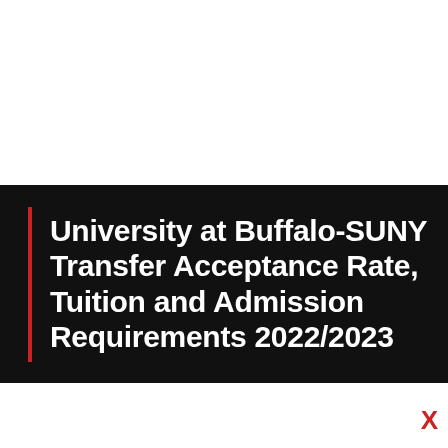University at Buffalo-SUNY Transfer Acceptance Rate, Tuition and Admission Requirements 2022/2023
Transfer Acceptance Rate  Tuition and Admission Requirements